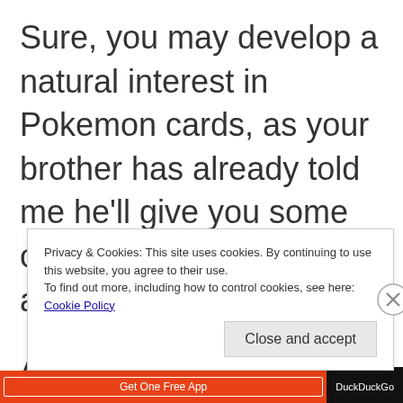Sure, you may develop a natural interest in Pokemon cards, as your brother has already told me he'll give you some of his cards once you get a little older.
And sure, you're used to him...
Privacy & Cookies: This site uses cookies. By continuing to use this website, you agree to their use.
To find out more, including how to control cookies, see here: Cookie Policy
Close and accept